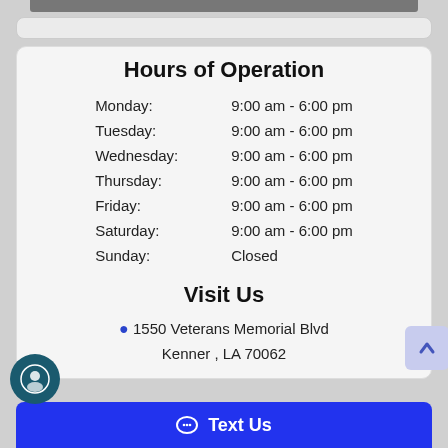Hours of Operation
| Day | Hours |
| --- | --- |
| Monday: | 9:00 am - 6:00 pm |
| Tuesday: | 9:00 am - 6:00 pm |
| Wednesday: | 9:00 am - 6:00 pm |
| Thursday: | 9:00 am - 6:00 pm |
| Friday: | 9:00 am - 6:00 pm |
| Saturday: | 9:00 am - 6:00 pm |
| Sunday: | Closed |
Visit Us
1550 Veterans Memorial Blvd Kenner , LA 70062
Text Us